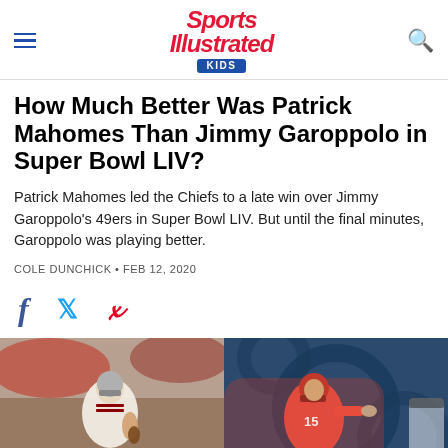Sports Illustrated Kids
How Much Better Was Patrick Mahomes Than Jimmy Garoppolo in Super Bowl LIV?
Patrick Mahomes led the Chiefs to a late win over Jimmy Garoppolo's 49ers in Super Bowl LIV. But until the final minutes, Garoppolo was playing better.
COLE DUNCHICK · FEB 12, 2020
[Figure (photo): Two side-by-side photos: left shows Jimmy Garoppolo (49ers quarterback in white uniform) dropping back to pass; right shows Patrick Mahomes (Chiefs quarterback in red uniform #15) throwing a pass.]